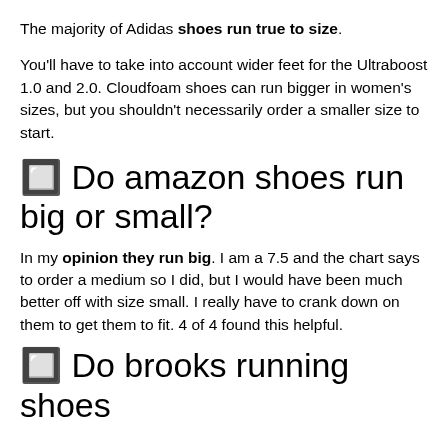The majority of Adidas shoes run true to size.
You'll have to take into account wider feet for the Ultraboost 1.0 and 2.0. Cloudfoam shoes can run bigger in women's sizes, but you shouldn't necessarily order a smaller size to start.
🔲 Do amazon shoes run big or small?
In my opinion they run big. I am a 7.5 and the chart says to order a medium so I did, but I would have been much better off with size small. I really have to crank down on them to get them to fit. 4 of 4 found this helpful.
🔲 Do brooks running shoes